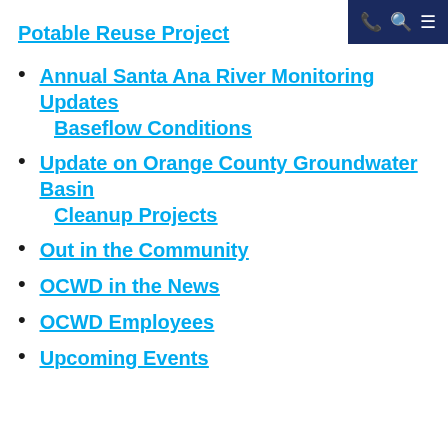Potable Reuse Project
Annual Santa Ana River Monitoring Updates Baseflow Conditions
Update on Orange County Groundwater Basin Cleanup Projects
Out in the Community
OCWD in the News
OCWD Employees
Upcoming Events